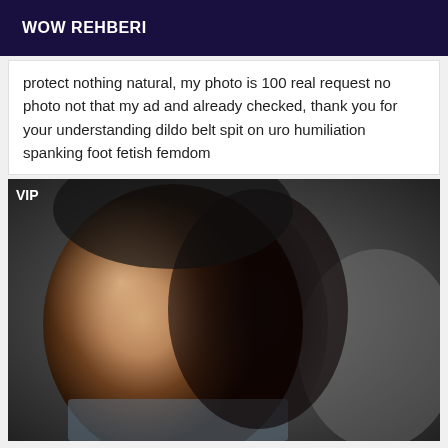WOW REHBERI
protect nothing natural, my photo is 100 real request no photo not that my ad and already checked, thank you for your understanding dildo belt spit on uro humiliation spanking foot fetish femdom
[Figure (photo): Close-up selfie photo of a bald man with beard stubble, face partially in shadow, with VIP label overlay in top-left corner]